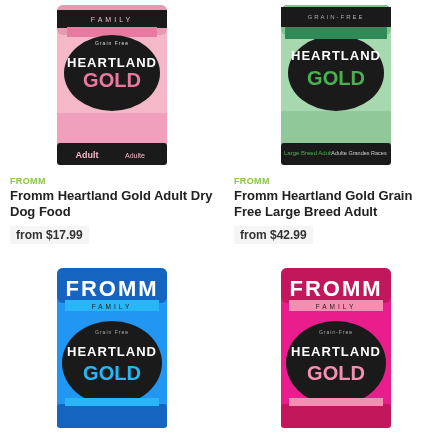[Figure (photo): Fromm Heartland Gold Adult Dry Dog Food bag - pink/black packaging]
FROMM
Fromm Heartland Gold Adult Dry Dog Food
from $17.99
[Figure (photo): Fromm Heartland Gold Grain Free Large Breed Adult bag - green/black packaging]
FROMM
Fromm Heartland Gold Grain Free Large Breed Adult
from $42.99
[Figure (photo): Fromm Heartland Gold blue bag - blue/black packaging]
[Figure (photo): Fromm Heartland Gold pink bag - pink/black packaging]